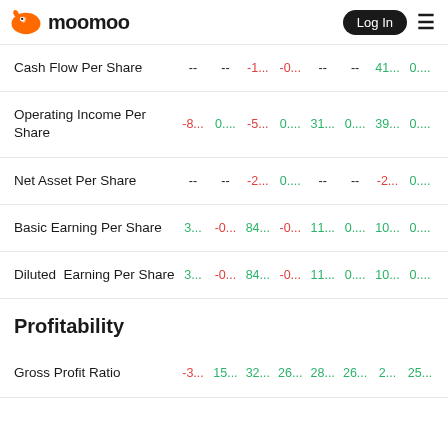moomoo — Log In
Cash Flow Per Share -- -- -1... -0... -- -- 41... 0....
Operating Income Per Share -8... 0.... -5... 0.... 31... 0.... 39... 0....
Net Asset Per Share -- -- -2... 0.... -- -- -2... 0....
Basic Earning Per Share 3... -0... 84... -0... 11... 0.... 10... 0....
Diluted Earning Per Share 3... -0... 84... -0... 11... 0.... 10... 0....
Profitability
Gross Profit Ratio -3... 15... 32... 26... 28... 26... 2... 25...